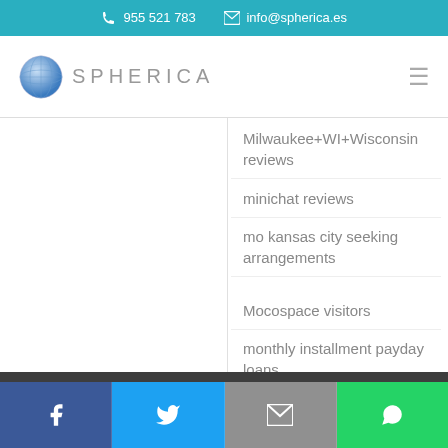955 521 783  info@spherica.es
[Figure (logo): Spherica logo with globe icon and text SPHERICA]
Milwaukee+WI+Wisconsin reviews
minichat reviews
mo kansas city seeking arrangements
Mocospace visitors
monthly installment payday loans
Utilizamos cookies para asegurar que damos la mejor experiencia al usuario en nuestro sitio web. Si continúa utilizando este sitio asumiremos que está de acuerdo.
Facebook  Twitter  Email  WhatsApp